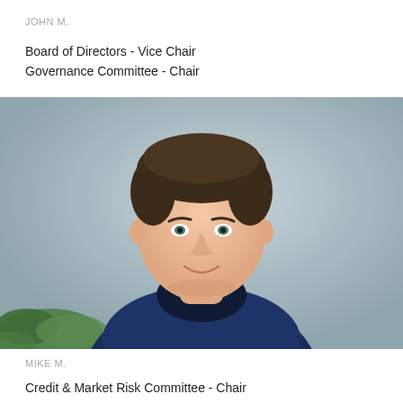JOHN M.
Board of Directors - Vice Chair
Governance Committee - Chair
[Figure (photo): Professional headshot of a man in a navy blue button-up shirt, against a grey background with a green plant visible in the lower left. He is smiling slightly and looking upward.]
MIKE M.
Credit & Market Risk Committee - Chair